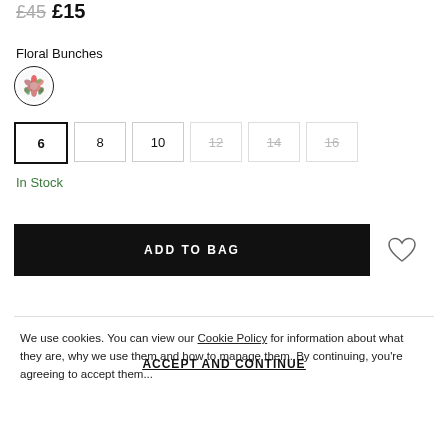£45  £15
Floral Bunches
[Figure (illustration): Round swatch circle with floral pattern in red and green tones on white background, with dark border]
Size options: 6 (selected), 8, 10, 12 (unavailable), 14 (unavailable), 16 (unavailable)
In Stock
ADD TO BAG
We use cookies. You can view our Cookie Policy for information about what they are, why we use them and how to manage them. By continuing, you're agreeing to accept them...
ACCEPT AND CONTINUE